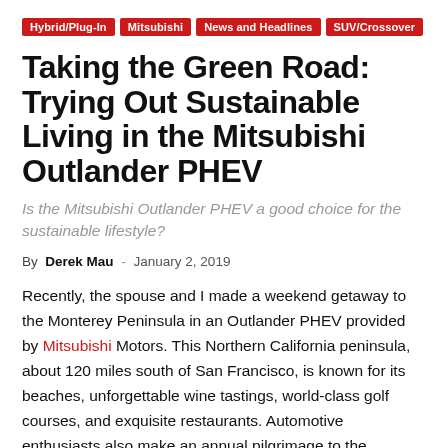Hybrid/Plug-In | Mitsubishi | News and Headlines | SUV/Crossover
Taking the Green Road: Trying Out Sustainable Living in the Mitsubishi Outlander PHEV
Is the Mitsubishi Outlander PHEV a good choice for the sustainable lifestyle?
By Derek Mau - January 2, 2019
Recently, the spouse and I made a weekend getaway to the Monterey Peninsula in an Outlander PHEV provided by Mitsubishi Motors. This Northern California peninsula, about 120 miles south of San Francisco, is known for its beaches, unforgettable wine tastings, world-class golf courses, and exquisite restaurants. Automotive enthusiasts also make an annual pilgrimage to the Monterey Car Week event, and the